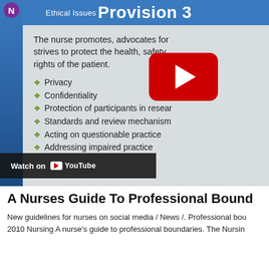[Figure (screenshot): Screenshot of an educational slide/video about Nursing Code of Ethics Provision 3 – Ethical Issues. The slide lists nurse duties: promotes, advocates for, strives to protect the health, safety, and rights of the patient. Bullet points: Privacy, Confidentiality, Protection of participants in research, Standards and review mechanisms, Acting on questionable practice, Addressing impaired practice. A YouTube play button overlay and 'Watch on YouTube' bar are visible.]
A Nurses Guide To Professional Bound
New guidelines for nurses on social media / News /. Professional bou 2010 Nursing A nurse's guide to professional boundaries. The Nursin